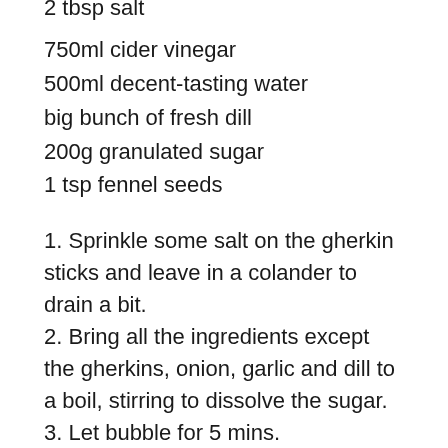2 tbsp salt
750ml cider vinegar
500ml decent-tasting water
big bunch of fresh dill
200g granulated sugar
1 tsp fennel seeds
1. Sprinkle some salt on the gherkin sticks and leave in a colander to drain a bit.
2. Bring all the ingredients except the gherkins, onion, garlic and dill to a boil, stirring to dissolve the sugar.
3. Let bubble for 5 mins.
4. Arrange the gherkins, a few slices of onion,